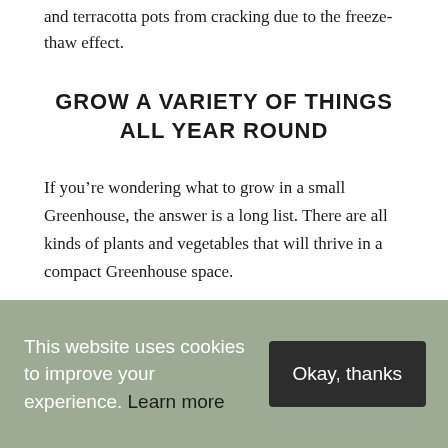and terracotta pots from cracking due to the freeze-thaw effect.
GROW A VARIETY OF THINGS ALL YEAR ROUND
If you’re wondering what to grow in a small Greenhouse, the answer is a long list. There are all kinds of plants and vegetables that will thrive in a compact Greenhouse space.
This website uses cookies to improve your experience. Learn more
Okay, thanks